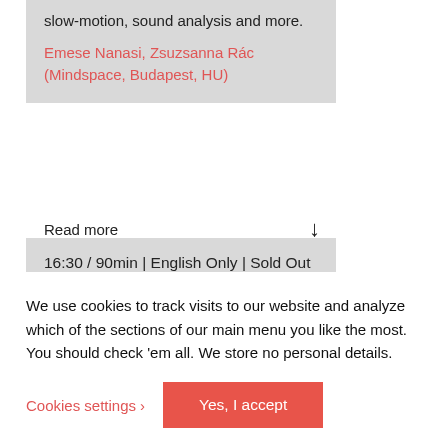slow-motion, sound analysis and more.
Emese Nanasi, Zsuzsanna Rác (Mindspace, Budapest, HU)
Read more
16:30 / 90min | English Only | Sold Out
GUIDED TOUR THROUGH
We use cookies to track visits to our website and analyze which of the sections of our main menu you like the most. You should check 'em all. We store no personal details.
Cookies settings
Yes, I accept